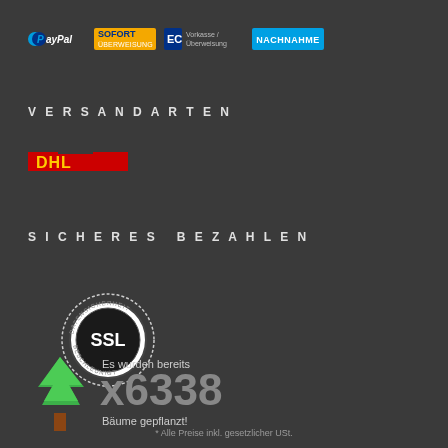[Figure (logo): Payment method logos: PayPal, SOFORT Überweisung, Vorkasse/Überweisung, NACHNAHME]
VERSANDARTEN
[Figure (logo): DHL logo in red]
SICHERES BEZAHLEN
[Figure (illustration): SSL certificate badge with circular text 'DATENSICHERHEIT' and 'BESCHLEUNIGT' around 'SSL' in center]
[Figure (illustration): Green tree illustration]
Es wurden bereits
x6338
Bäume gepflanzt!
* Alle Preise inkl. gesetzlicher USt.